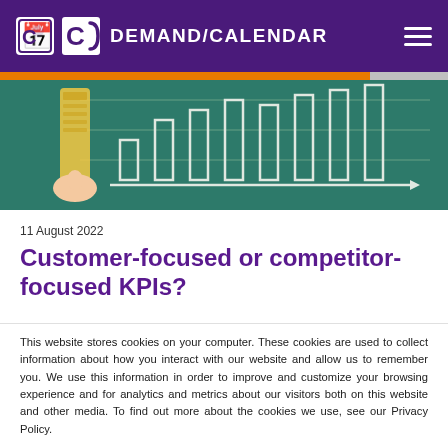DEMAND/CALENDAR
[Figure (photo): A hand holding a measuring tape against a green chalkboard with chalk-drawn bar chart and arrow]
11 August 2022
Customer-focused or competitor-focused KPIs?
This website stores cookies on your computer. These cookies are used to collect information about how you interact with our website and allow us to remember you. We use this information in order to improve and customize your browsing experience and for analytics and metrics about our visitors both on this website and other media. To find out more about the cookies we use, see our Privacy Policy.
Accept and continue to page